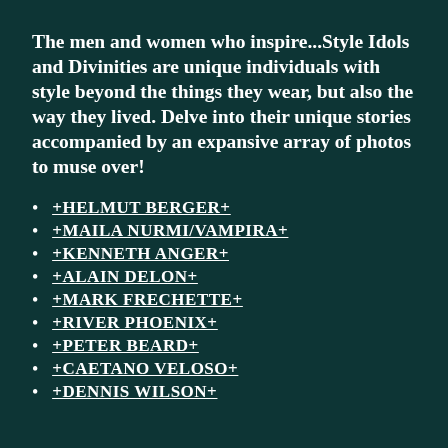The men and women who inspire...Style Idols and Divinities are unique individuals with style beyond the things they wear, but also the way they lived. Delve into their unique stories accompanied by an expansive array of photos to muse over!
+HELMUT BERGER+
+MAILA NURMI/VAMPIRA+
+KENNETH ANGER+
+ALAIN DELON+
+MARK FRECHETTE+
+RIVER PHOENIX+
+PETER BEARD+
+CAETANO VELOSO+
+DENNIS WILSON+